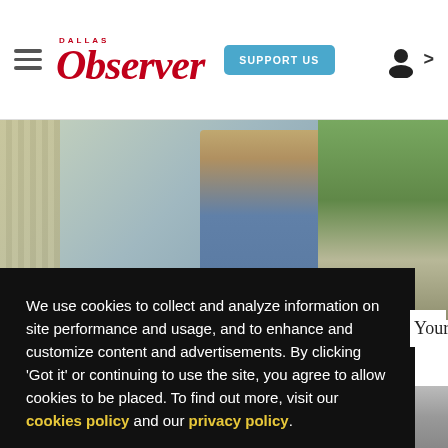Dallas Observer — SUPPORT US
[Figure (photo): Outdoor photo of a woman smiling, standing near a tree on a city sidewalk, with cars visible in the background]
We use cookies to collect and analyze information on site performance and usage, and to enhance and customize content and advertisements. By clicking 'Got it' or continuing to use the site, you agree to allow cookies to be placed. To find out more, visit our cookies policy and our privacy policy.
Got it!